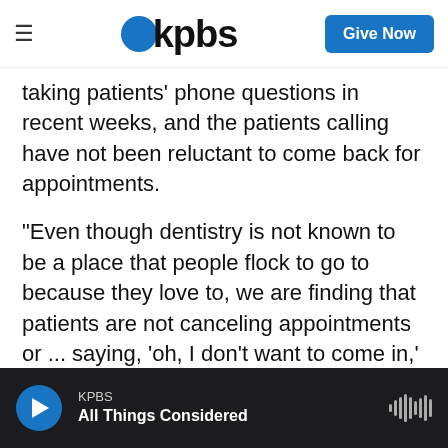kpbs | Give Now
taking patients' phone questions in recent weeks, and the patients calling have not been reluctant to come back for appointments.
"Even though dentistry is not known to be a place that people flock to go to because they love to, we are finding that patients are not canceling appointments or ... saying, 'oh, I don't want to come in,' or 'Wait six months' or 'I'm going to wait 'til this all passes.'"
However, he says, he expects the pandemic will produce lasting changes to how dentists practice.
KPBS | All Things Considered